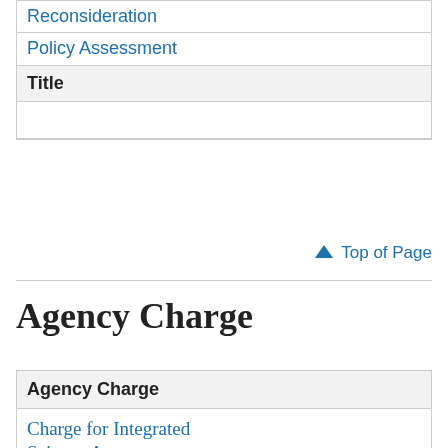| Title |
| --- |
| Reconsideration |
| Policy Assessment |
| Title |
|  |
↑ Top of Page
Agency Charge
| Agency Charge |
| --- |
| Charge for Integrated Science Assessment |